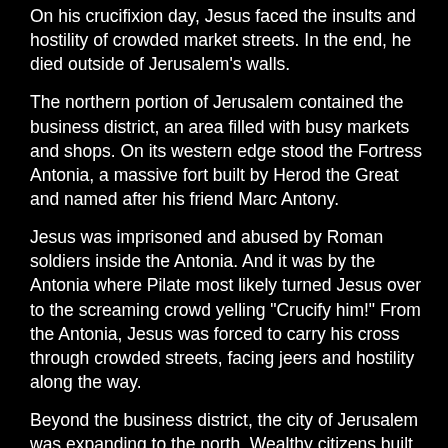On his crucifixion day, Jesus faced the insults and hostility of crowded market streets. In the end, he died outside of Jerusalem's walls.
The northern portion of Jerusalem contained the business district, an area filled with busy markets and shops. On its western edge stood the Fortress Antonia, a massive fort built by Herod the Great and named after his friend Marc Antony.
Jesus was imprisoned and abused by Roman soldiers inside the Antonia. And it was by the Antonia where Pilate most likely turned Jesus over to the screaming crowd yelling "Crucify him!" From the Antonia, Jesus was forced to carry his cross through crowded streets, facing jeers and hostility along the way.
Beyond the business district, the city of Jerusalem was expanding to the north. Wealthy citizens built extravagant villas in an area that was eventually walled several years after Jesus' crucifixion. Between